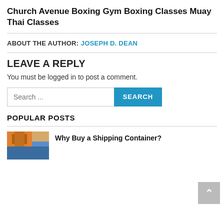Church Avenue Boxing Gym Boxing Classes Muay Thai Classes
ABOUT THE AUTHOR: JOSEPH D. DEAN
LEAVE A REPLY
You must be logged in to post a comment.
POPULAR POSTS
Why Buy a Shipping Container?